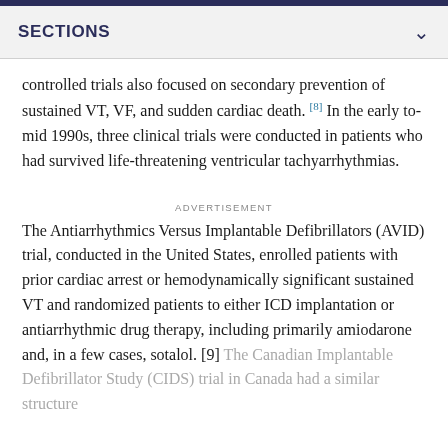SECTIONS
controlled trials also focused on secondary prevention of sustained VT, VF, and sudden cardiac death. [8] In the early to-mid 1990s, three clinical trials were conducted in patients who had survived life-threatening ventricular tachyarrhythmias.
ADVERTISEMENT
The Antiarrhythmics Versus Implantable Defibrillators (AVID) trial, conducted in the United States, enrolled patients with prior cardiac arrest or hemodynamically significant sustained VT and randomized patients to either ICD implantation or antiarrhythmic drug therapy, including primarily amiodarone and, in a few cases, sotalol. [9] The Canadian Implantable Defibrillator Study (CIDS) trial in Canada had a similar structure